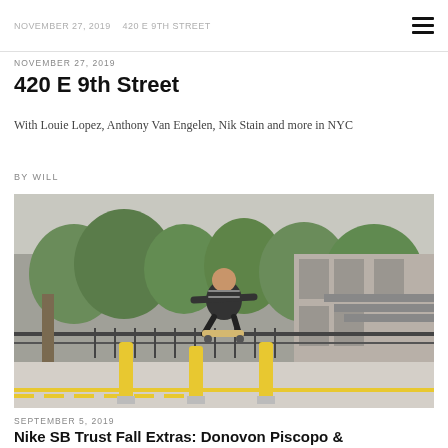NOVEMBER 27, 2019 | 420 E 9th Street
NOVEMBER 27, 2019
420 E 9th Street
With Louie Lopez, Anthony Van Engelen, Nik Stain and more in NYC
BY WILL
[Figure (photo): Skateboarder performing a trick mid-air between yellow bollards in an urban setting with trees and buildings in the background]
SEPTEMBER 5, 2019
Nike SB Trust Fall Extras: Donovon Piscopo &